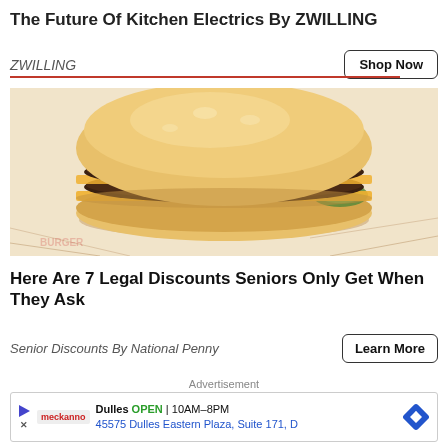The Future Of Kitchen Electrics By ZWILLING
ZWILLING
[Figure (photo): Photo of a double cheeseburger on crinkled fast-food wrapper paper]
Here Are 7 Legal Discounts Seniors Only Get When They Ask
Senior Discounts By National Penny
Advertisement
Dulles OPEN | 10AM–8PM 45575 Dulles Eastern Plaza, Suite 171, D